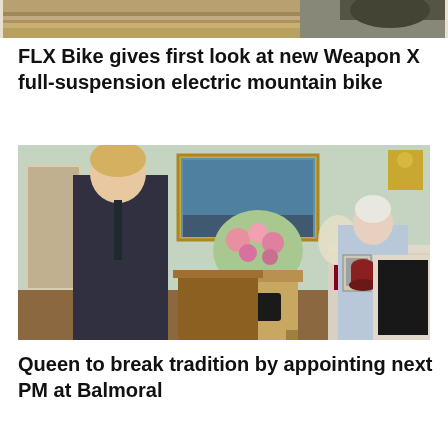[Figure (photo): Cropped top portion of a photo, showing a wooden floor and part of a bicycle or vehicle]
FLX Bike gives first look at new Weapon X full-suspension electric mountain bike
[Figure (photo): Photo of Boris Johnson and Queen Elizabeth II standing in an ornate room at Buckingham Palace, with flowers, paintings and a fireplace in the background]
Queen to break tradition by appointing next PM at Balmoral